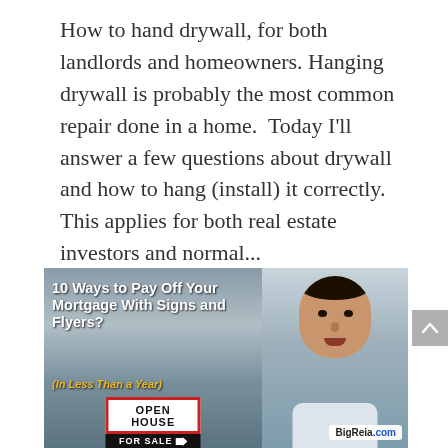How to hand drywall, for both landlords and homeowners. Hanging drywall is probably the most common repair done in a home.  Today I'll answer a few questions about drywall and how to hang (install) it correctly.  This applies for both real estate investors and normal...
[Figure (photo): Promotional image thumbnail for BigReia.com showing text '10 Ways to Pay Off Your Mortgage With Signs and Flyers? (In Less Than a Year)' with an Open House / For Sale sign in the foreground and a man's portrait on the right side.]